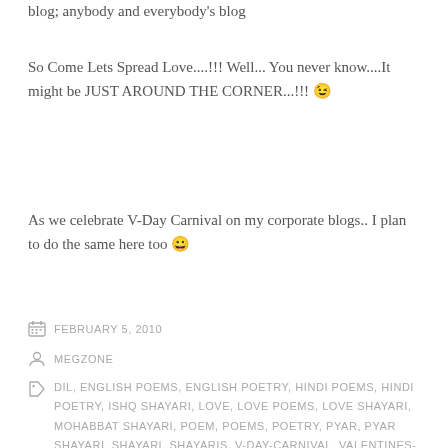blog; anybody and everybody's blog
So Come Lets Spread Love....!!! Well... You never know....It might be JUST AROUND THE CORNER...!!! 😉
As we celebrate V-Day Carnival on my corporate blogs.. I plan to do the same here too 😀
FEBRUARY 5, 2010
MEGZONE
DIL, ENGLISH POEMS, ENGLISH POETRY, HINDI POEMS, HINDI POETRY, ISHQ SHAYARI, LOVE, LOVE POEMS, LOVE SHAYARI, MOHABBAT SHAYARI, POEM, POEMS, POETRY, PYAR, PYAR SHAYARI, SHAYARI, SHAYARIS, V-DAY-CARNIVAL, VALENTINES-DAY